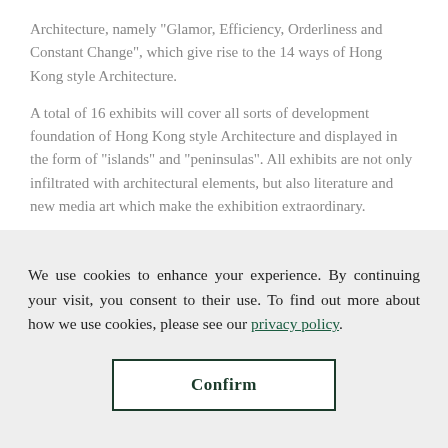Architecture, namely "Glamor, Efficiency, Orderliness and Constant Change", which give rise to the 14 ways of Hong Kong style Architecture.
A total of 16 exhibits will cover all sorts of development foundation of Hong Kong style Architecture and displayed in the form of "islands" and "peninsulas". All exhibits are not only infiltrated with architectural elements, but also literature and new media art which make the exhibition extraordinary.
The "Island__Peninsula" exhibition will last for 2 weeks in Los
We use cookies to enhance your experience. By continuing your visit, you consent to their use. To find out more about how we use cookies, please see our privacy policy.